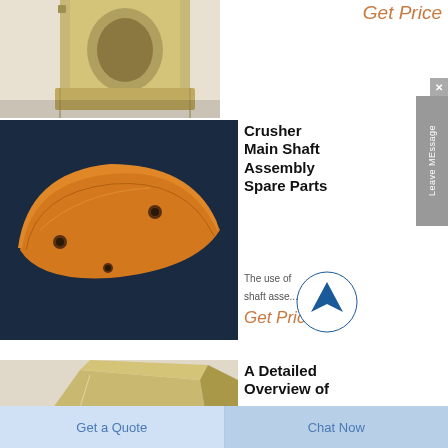[Figure (photo): Partial view of a metallic crusher spare part (top, cropped)]
Get Price
[Figure (photo): Orange curved crusher main shaft bushing/liner part on dark blue background]
Crusher Main Shaft Assembly Spare Parts
The use of shaft asse...
Get Price
[Figure (photo): Metallic crusher part (bottom, partially visible)]
A Detailed Overview of
Get a Quote
Chat Now